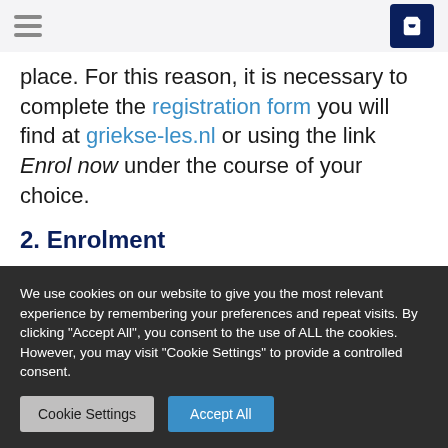[hamburger menu] [shopping bag icon]
place. For this reason, it is necessary to complete the registration form you will find at griekse-les.nl or using the link Enrol now under the course of your choice.
2. Enrolment
You can register by completing and sending
We use cookies on our website to give you the most relevant experience by remembering your preferences and repeat visits. By clicking "Accept All", you consent to the use of ALL the cookies. However, you may visit "Cookie Settings" to provide a controlled consent.
Cookie Settings | Accept All